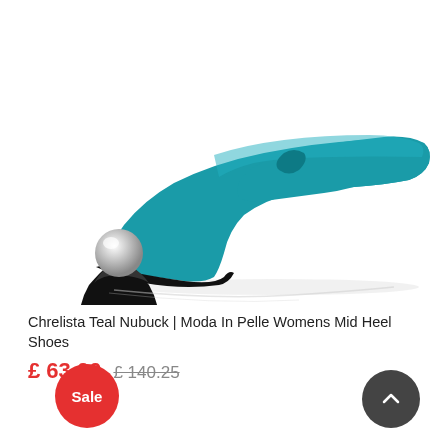[Figure (photo): A teal/blue suede pointed-toe pump with a unique sculptural heel consisting of a black trapezoidal base topped with a silver metallic sphere. The shoe is photographed on a white background with a subtle reflection below.]
Chrelista Teal Nubuck | Moda In Pelle Womens Mid Heel Shoes
£ 63.00  £ 140.25
Sale